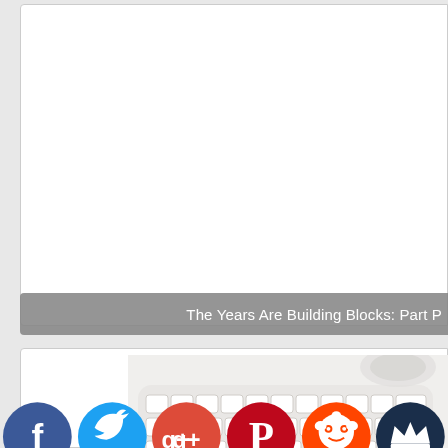[Figure (screenshot): White card area at top of page, mostly blank content area]
The Years Are Building Blocks: Part P
[Figure (photo): White Apple keyboard on light background]
[Figure (infographic): Row of social media icons: Facebook (blue), Twitter (light blue), Google+ (red-orange), Pinterest (red), Reddit (orange), and a crown icon (dark blue)]